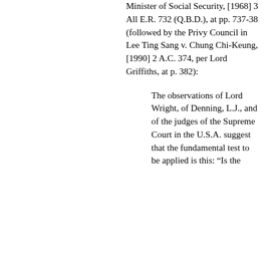Minister of Social Security, [1968] 3 All E.R. 732 (Q.B.D.), at pp. 737-38 (followed by the Privy Council in Lee Ting Sang v. Chung Chi-Keung, [1990] 2 A.C. 374, per Lord Griffiths, at p. 382):
The observations of Lord Wright, of Denning, L.J., and of the judges of the Supreme Court in the U.S.A. suggest that the fundamental test to be applied is this: “Is the